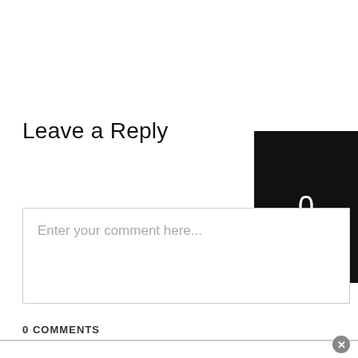Leave a Reply
Enter your comment here...
0 COMMENTS
[Figure (other): Black box with number 0]
[Figure (other): Advertisement bar with two ads: 'Discover New and Used Car Deals Near You' (Ad by Car Deals Near You) and '20 Things a Mother Should Tell Her Son' (Ad by Quizz)]